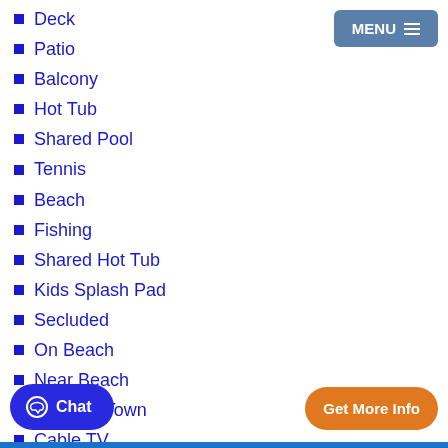Deck
Patio
Balcony
Hot Tub
Shared Pool
Tennis
Beach
Fishing
Shared Hot Tub
Kids Splash Pad
Secluded
On Beach
Near Beach
Close to Town
Cable TV
DVD Player
Pool Table
WIFI
Bumper Pool Table
Table